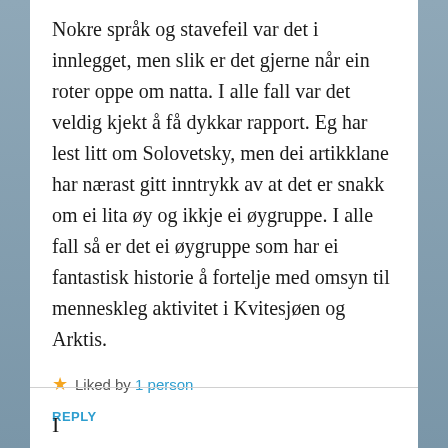Nokre språk og stavefeil var det i innlegget, men slik er det gjerne når ein roter oppe om natta. I alle fall var det veldig kjekt å få dykkar rapport. Eg har lest litt om Solovetsky, men dei artikklane har nærast gitt inntrykk av at det er snakk om ei lita øy og ikkje ei øygruppe. I alle fall så er det ei øygruppe som har ei fantastisk historie å fortelje med omsyn til menneskleg aktivitet i Kvitesjøen og Arktis.
★ Liked by 1 person
REPLY